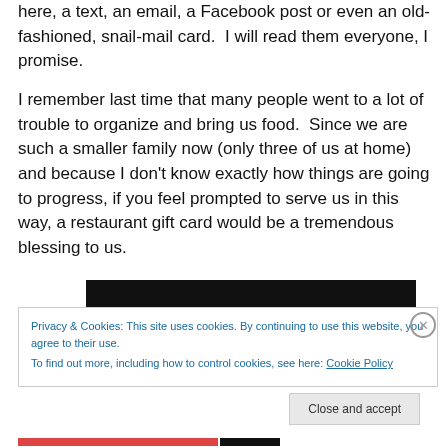here, a text, an email, a Facebook post or even an old-fashioned, snail-mail card.  I will read them everyone, I promise.
I remember last time that many people went to a lot of trouble to organize and bring us food.  Since we are such a smaller family now (only three of us at home) and because I don't know exactly how things are going to progress, if you feel prompted to serve us in this way, a restaurant gift card would be a tremendous blessing to us.
[Figure (photo): Black rectangular image block]
Privacy & Cookies: This site uses cookies. By continuing to use this website, you agree to their use.
To find out more, including how to control cookies, see here: Cookie Policy
Close and accept